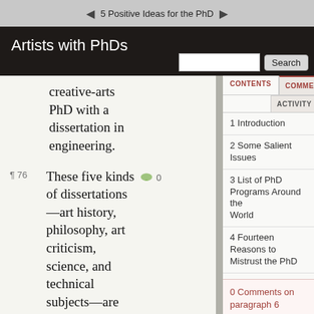5 Positive Ideas for the PhD
Artists with PhDs
creative-arts PhD with a dissertation in engineering.
¶ 76  These five kinds of dissertations —art history, philosophy, art criticism, science, and technical subjects—are all examples of dissertations
CONTENTS
COMMENTS
ACTIVITY
1 Introduction
2 Some Salient Issues
3 List of PhD Programs Around the World
4 Fourteen Reasons to Mistrust the PhD
5 Positive Ideas for the PhD
6 Six Cultures of the PhD Around the World
0 Comments on paragraph 6